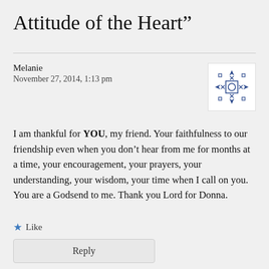Attitude of the Heart”
Melanie
November 27, 2014, 1:13 pm
[Figure (illustration): Blue and white decorative avatar icon with geometric snowflake-like pattern]
I am thankful for YOU, my friend. Your faithfulness to our friendship even when you don’t hear from me for months at a time, your encouragement, your prayers, your understanding, your wisdom, your time when I call on you. You are a Godsend to me. Thank you Lord for Donna.
★ Like
Reply